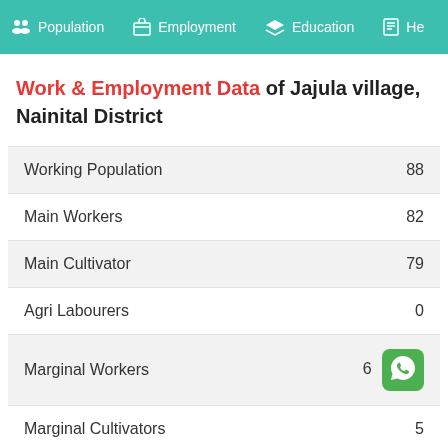Population  Employment  Education  He...
Work & Employment Data of Jajula village, Nainital District
| Category | Value |
| --- | --- |
| Working Population | 88 |
| Main Workers | 82 |
| Main Cultivator | 79 |
| Agri Labourers | 0 |
| Marginal Workers | 6 |
| Marginal Cultivators | 5 |